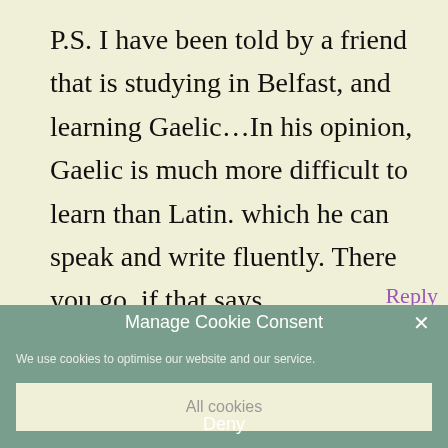P.S. I have been told by a friend that is studying in Belfast, and learning Gaelic...In his opinion, Gaelic is much more difficult to learn than Latin. which he can speak and write fluently. There you go, if that says anything…..
Reply
Manage Cookie Consent
We use cookies to optimise our website and our service.
All cookies
Deny